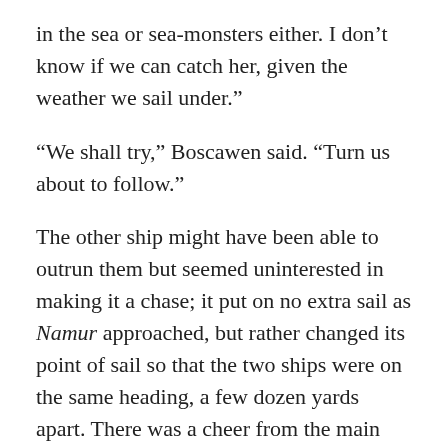in the sea or sea-monsters either. I don’t know if we can catch her, given the weather we sail under.”
“We shall try,” Boscawen said. “Turn us about to follow.”
The other ship might have been able to outrun them but seemed uninterested in making it a chase; it put on no extra sail as Namur approached, but rather changed its point of sail so that the two ships were on the same heading, a few dozen yards apart. There was a cheer from the main deck when Namur broke out into sunlight. It was the first blue sky they’d seen in several days.
***